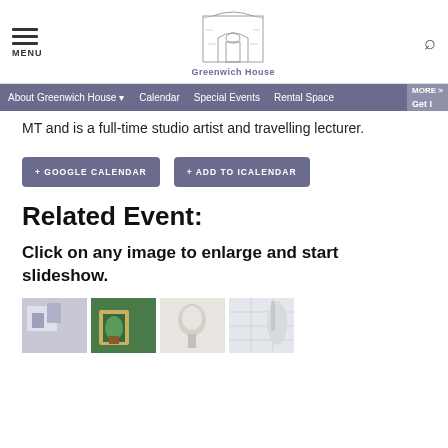MENU | Greenwich House
About Greenwich House | Calendar | Special Events | Rental Space | Get I | MORE >
MT and is a full-time studio artist and travelling lecturer.
+ GOOGLE CALENDAR  + ADD TO ICALENDAR
Related Event:
Click on any image to enlarge and start slideshow.
[Figure (photo): Four thumbnail images of artwork/gallery spaces shown in a row at the bottom of the page]